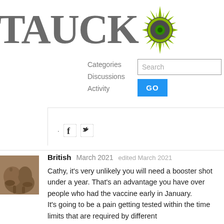[Figure (logo): Tauck logo with compass-like green and dark circular emblem beside large gray text reading TAUCK]
Categories
Discussions
Activity
Search
GO
[Figure (illustration): Facebook and Twitter social media icons]
[Figure (photo): Avatar photo of an elephant]
British   March 2021   edited March 2021
Cathy, it's very unlikely you will need a booster shot under a year. That's an advantage you have over people who had the vaccine early in January.
It's going to be a pain getting tested within the time limits that are required by different